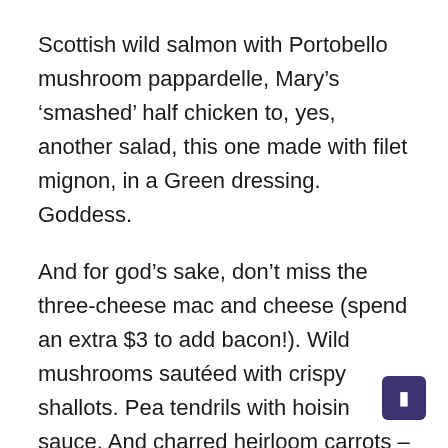Scottish wild salmon with Portobello mushroom pappardelle, Mary's ‘smashed’ half chicken to, yes, another salad, this one made with filet mignon, in a Green dressing. Goddess.
And for god’s sake, don’t miss the three-cheese mac and cheese (spend an extra $3 to add bacon!). Wild mushrooms sautéed with crispy shallots. Pea tendrils with hoisin sauce. And charred heirloom carrots – which makes me want to char all my vegetables from now on.
And to add to the pleasure, it is easy to park in the field next to it. And the staff are as smiley and affable as they come. I guess they are as happy to be there as I am.